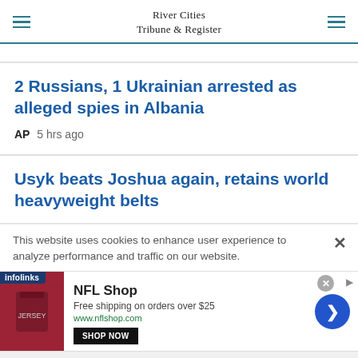River Cities Tribune & Register
2 Russians, 1 Ukrainian arrested as alleged spies in Albania
AP   5 hrs ago
Usyk beats Joshua again, retains world heavyweight belts
This website uses cookies to enhance user experience to analyze performance and traffic on our website.
[Figure (infographic): NFL Shop advertisement banner with infolinks badge, red jersey image, shop now button, and blue arrow button]
NFL Shop
Free shipping on orders over $25
www.nflshop.com